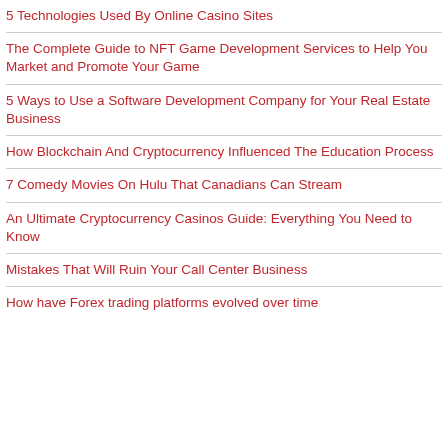5 Technologies Used By Online Casino Sites
The Complete Guide to NFT Game Development Services to Help You Market and Promote Your Game
5 Ways to Use a Software Development Company for Your Real Estate Business
How Blockchain And Cryptocurrency Influenced The Education Process
7 Comedy Movies On Hulu That Canadians Can Stream
An Ultimate Cryptocurrency Casinos Guide: Everything You Need to Know
Mistakes That Will Ruin Your Call Center Business
How have Forex trading platforms evolved over time